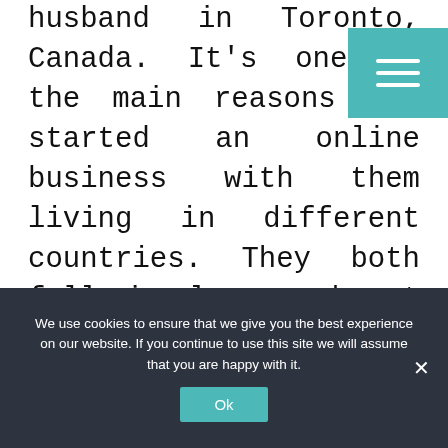husband in Toronto, Canada. It's one of the main reasons she started an online business with them living in different countries. They both fell in love and got married.

Then Andréa decided to move to Canada to be with her husband, so she left her corporate career working
[Figure (other): Teal/turquoise hamburger menu button in top right corner with three white horizontal lines]
We use cookies to ensure that we give you the best experience on our website. If you continue to use this site we will assume that you are happy with it.